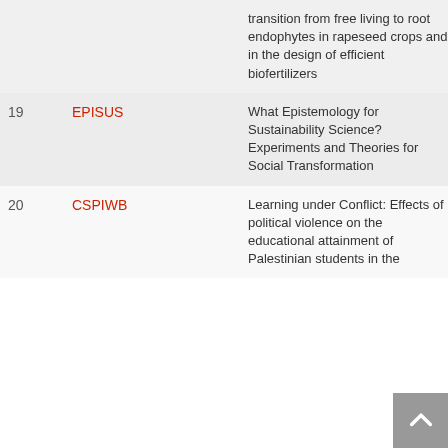| # | Code | Title | Year |
| --- | --- | --- | --- |
|  |  | transition from free living to root endophytes in rapeseed crops and in the design of efficient biofertilizers |  |
| 19 | EPISUS | What Epistemology for Sustainability Science? Experiments and Theories for Social Transformation | 20 |
| 20 | CSPIWB | Learning under Conflict: Effects of political violence on the educational attainment of Palestinian students in the | 20 |